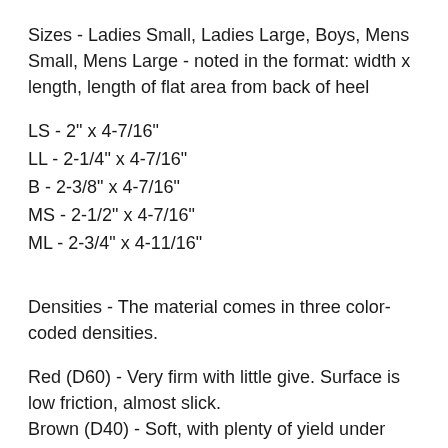Sizes - Ladies Small, Ladies Large, Boys, Mens Small, Mens Large - noted in the format: width x length, length of flat area from back of heel
LS - 2" x 4-7/16"
LL - 2-1/4" x 4-7/16"
B - 2-3/8" x 4-7/16"
MS - 2-1/2" x 4-7/16"
ML - 2-3/4" x 4-11/16"
Densities - The material comes in three color-coded densities.
Red (D60) - Very firm with little give. Surface is low friction, almost slick.
Brown (D40) - Soft, with plenty of yield under impact, yet supportive. Surface is high friction, almost non-slip. Our most popular style.